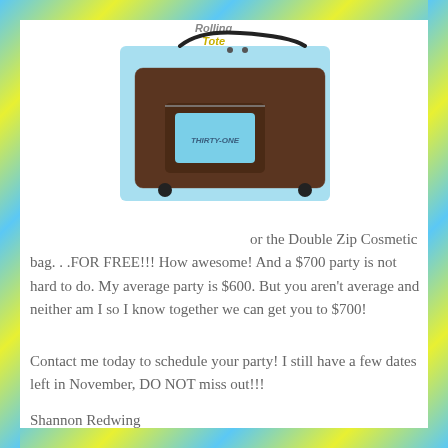[Figure (photo): Brown rolling tote bag with strap shown on light blue background, with 'Rolling Tote' text label above it]
or the Double Zip Cosmetic bag. . .FOR FREE!!! How awesome! And a $700 party is not hard to do. My average party is $600. But you aren't average and neither am I so I know together we can get you to $700!
Contact me today to schedule your party! I still have a few dates left in November, DO NOT miss out!!!
Shannon Redwing
@heyshanny